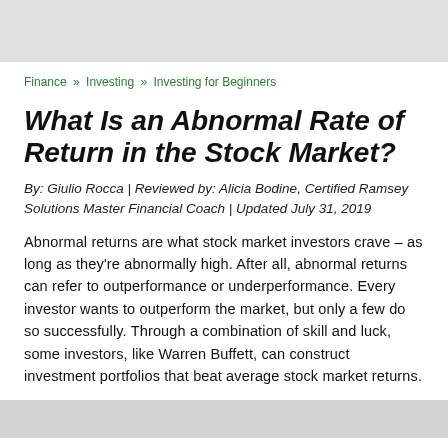Finance » Investing » Investing for Beginners
What Is an Abnormal Rate of Return in the Stock Market?
By: Giulio Rocca | Reviewed by: Alicia Bodine, Certified Ramsey Solutions Master Financial Coach | Updated July 31, 2019
Abnormal returns are what stock market investors crave – as long as they're abnormally high. After all, abnormal returns can refer to outperformance or underperformance. Every investor wants to outperform the market, but only a few do so successfully. Through a combination of skill and luck, some investors, like Warren Buffett, can construct investment portfolios that beat average stock market returns.